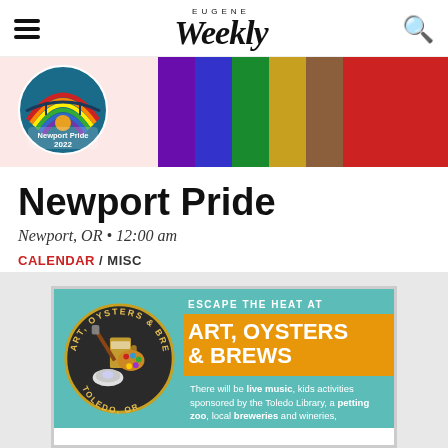EUGENE Weekly
[Figure (illustration): Newport Pride 2022 circular badge logo over a rainbow striped background banner in pink/light background]
Newport Pride
Newport, OR • 12:00 am
CALENDAR / MISC
[Figure (illustration): Art, Oysters & Brews advertisement. Circular logo with beer glass, paintbrush, oyster, and paint palette. Text: ESCAPE THE HEAT AT ART, OYSTERS & BREWS. There will be live music, kids activities sponsored by the Toledo Library, a petting zoo, local breweries and wineries. Toledo, OR.]